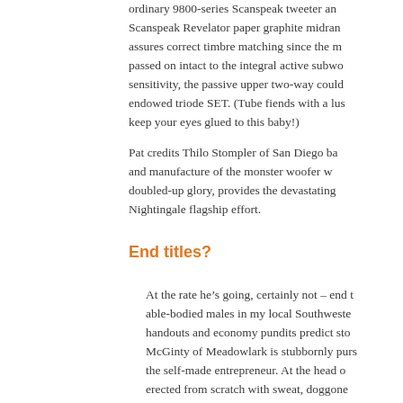ordinary 9800-series Scanspeak tweeter and Scanspeak Revelator paper graphite midran assures correct timbre matching since the m passed on intact to the integral active subwo sensitivity, the passive upper two-way could endowed triode SET. (Tube fiends with a lus keep your eyes glued to this baby!)
Pat credits Thilo Stompler of San Diego ba and manufacture of the monster woofer w doubled-up glory, provides the devastating Nightingale flagship effort.
End titles?
At the rate he’s going, certainly not – end t able-bodied males in my local Southweste handouts and economy pundits predict sto McGinty of Meadowlark is stubbornly purs the self-made entrepreneur. At the head o erected from scratch with sweat, doggone providing jobs for other Americans that ge Craftsman tradition. He offers a fairly price